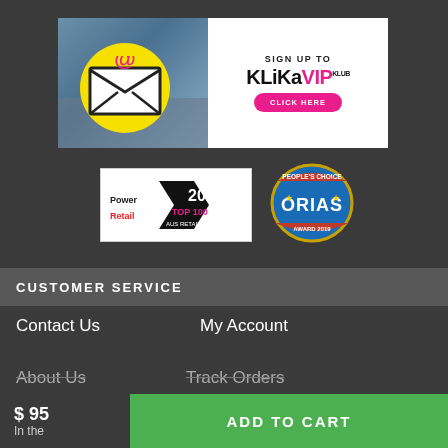[Figure (illustration): Klika VIP Klub sign-up banner. Left side shows an envelope with @ symbol on yellow circle against photo background. Right side is white with 'SIGN UP TO KlikaVIP KLUB' text and a pink 'CLICK HERE' button.]
[Figure (logo): Power Retail 2018 Top 100 Aus Retailer badge]
[Figure (logo): People's Choice ORIAS Award 2019 badge]
CUSTOMER SERVICE
Contact Us
My Account
About Us
Track Orders
$ 95
In the
ADD TO CART